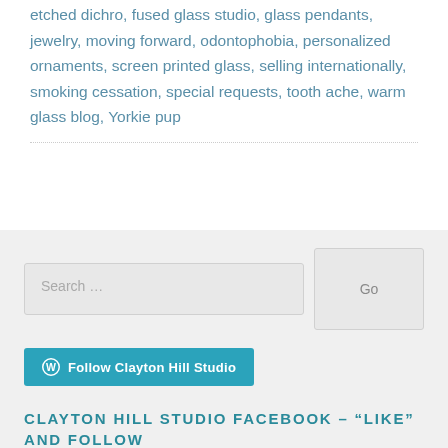etched dichro, fused glass studio, glass pendants, jewelry, moving forward, odontophobia, personalized ornaments, screen printed glass, selling internationally, smoking cessation, special requests, tooth ache, warm glass blog, Yorkie pup
[Figure (other): Search input field with placeholder 'Search ...' and a 'Go' button, followed by a teal 'Follow Clayton Hill Studio' WordPress button]
CLAYTON HILL STUDIO FACEBOOK – “LIKE” AND FOLLOW
EMAIL SUBSCRIPTION